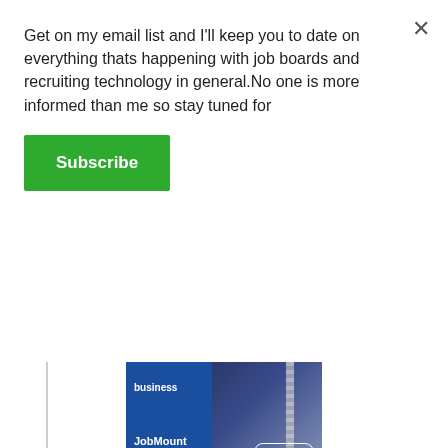Get on my email list and I'll keep you to date on everything thats happening with job boards and recruiting technology in general.No one is more informed than me so stay tuned for
Subscribe
[Figure (screenshot): JobMount Software advertisement banner showing a suit with measuring tape and 'Start today' button]
[Figure (screenshot): Niceboard advertisement: 'niceboard - Start a job board From $129/mo - Try 7 days free']